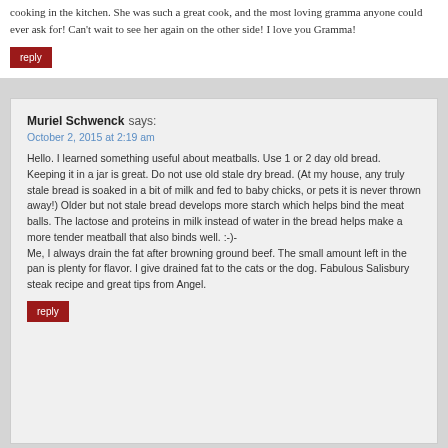cooking in the kitchen. She was such a great cook, and the most loving gramma anyone could ever ask for! Can't wait to see her again on the other side! I love you Gramma!
reply
Muriel Schwenck says:
October 2, 2015 at 2:19 am
Hello. I learned something useful about meatballs. Use 1 or 2 day old bread. Keeping it in a jar is great. Do not use old stale dry bread. (At my house, any truly stale bread is soaked in a bit of milk and fed to baby chicks, or pets it is never thrown away!) Older but not stale bread develops more starch which helps bind the meat balls. The lactose and proteins in milk instead of water in the bread helps make a more tender meatball that also binds well. :-)-
Me, I always drain the fat after browning ground beef. The small amount left in the pan is plenty for flavor. I give drained fat to the cats or the dog. Fabulous Salisbury steak recipe and great tips from Angel.
reply